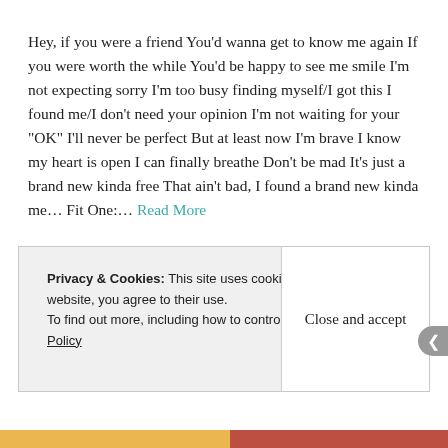Hey, if you were a friend You'd wanna get to know me again If you were worth the while You'd be happy to see me smile I'm not expecting sorry I'm too busy finding myself/I got this I found me/I don't need your opinion I'm not waiting for your "OK" I'll never be perfect But at least now I'm brave I know my heart is open I can finally breathe Don't be mad It's just a brand new kinda free That ain't bad, I found a brand new kinda me… Fit One:… Read More
Privacy & Cookies: This site uses cookies. By continuing to use this website, you agree to their use. To find out more, including how to control cookies, see here: Cookie Policy
Close and accept